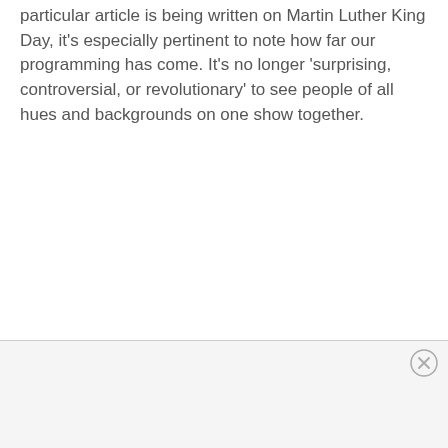particular article is being written on Martin Luther King Day, it's especially pertinent to note how far our programming has come. It's no longer 'surprising, controversial, or revolutionary' to see people of all hues and backgrounds on one show together.